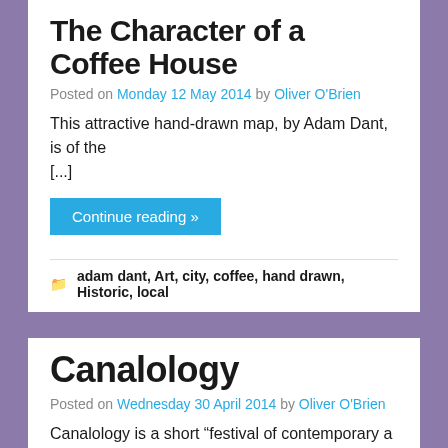The Character of a Coffee House
Posted on Monday 12 May 2014 by Oliver O'Brien
This attractive hand-drawn map, by Adam Dant, is of the [...]
Continue reading »
adam dant, Art, city, coffee, hand drawn, Historic, local
Canalology
Posted on Wednesday 30 April 2014 by Oliver O'Brien
Canalology is a short “festival of contemporary a [...]
Continue reading »